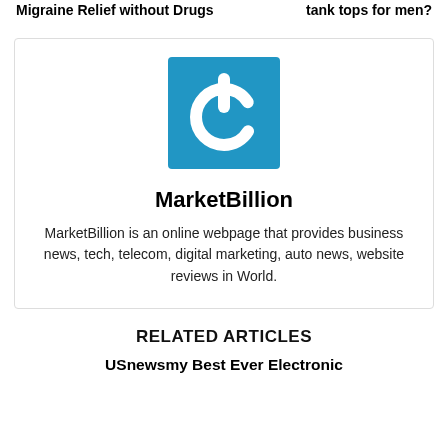Migraine Relief without Drugs
tank tops for men?
[Figure (logo): MarketBillion logo — blue square background with a white power button icon]
MarketBillion
MarketBillion is an online webpage that provides business news, tech, telecom, digital marketing, auto news, website reviews in World.
RELATED ARTICLES
USnewsmy Best Ever Electronic